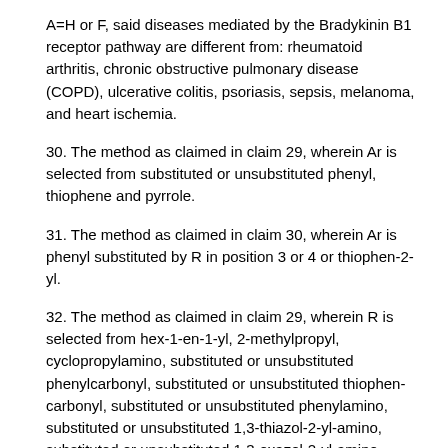A=H or F, said diseases mediated by the Bradykinin B1 receptor pathway are different from: rheumatoid arthritis, chronic obstructive pulmonary disease (COPD), ulcerative colitis, psoriasis, sepsis, melanoma, and heart ischemia.
30. The method as claimed in claim 29, wherein Ar is selected from substituted or unsubstituted phenyl, thiophene and pyrrole.
31. The method as claimed in claim 30, wherein Ar is phenyl substituted by R in position 3 or 4 or thiophen-2-yl.
32. The method as claimed in claim 29, wherein R is selected from hex-1-en-1-yl, 2-methylpropyl, cyclopropylamino, substituted or unsubstituted phenylcarbonyl, substituted or unsubstituted thiophen-carbonyl, substituted or unsubstituted phenylamino, substituted or unsubstituted 1,3-thiazol-2-yl-amino, substituted or unsubstituted 1,3-oxazol-2-yl-amino, substituted or unsubstituted phenoxy, substituted or unsubstituted naphtalen-1-yloxy, substituted or unsubstituted naphtalen-2-yloxy morpholin-4-yl, pyperidin-1-yl, trifluoromethanesulfonyloxy, C1-C4 alkylsulfonylamino, substituted or unsubstituted phenylsulfonylamino, substituted or unsubstituted phenylsulfonyloxy.
33. The method as claimed in claim 29, wherein R is selected from 1-ethyl...